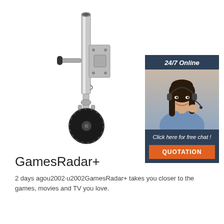[Figure (photo): A trailer jockey wheel / jack stand with a metal pole, mounting bracket, crank handle, and a large black rubber wheel at the bottom. The hardware is silver/galvanized steel.]
[Figure (infographic): Advertisement banner with dark blue background. Header reads '24/7 Online' in italic white text. Center shows a smiling woman with dark hair wearing a headset and light blue shirt. Footer reads 'Click here for free chat!' in italic white text, and an orange button labeled 'QUOTATION'.]
GamesRadar+
2 days agou2002·u2002GamesRadar+ takes you closer to the games, movies and TV you love.